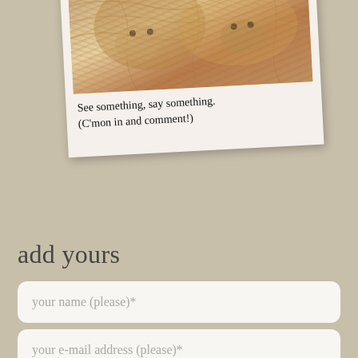[Figure (photo): A tilted polaroid-style photo showing two animals (foxes or squirrels with orange/brown fur) at the top, with handwritten text below reading: 'See something, say something. (C'mon in and comment!)']
See something, say something. (C'mon in and comment!)
add yours
your name (please)*
your e-mail address (please)*
your website (if you will)